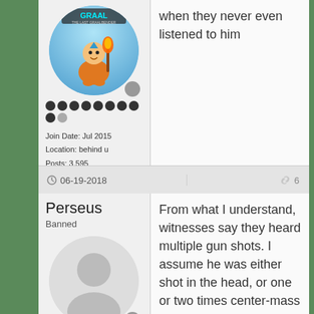[Figure (illustration): Circular avatar showing a cartoon game character (Graal the Last Graalbender style) — small orange-robed figure with blue arrow on head, holding a flaming staff, against a sky background with 'GRAAL THE LAST GRAALBENDER' text at top]
when they never even listened to him
Join Date: Jul 2015
Location: behind u
Posts: 3,595
06-19-2018
6
Perseus
Banned
[Figure (illustration): Default grey circular avatar with generic silhouette of a person (head and shoulders)]
From what I understand, witnesses say they heard multiple gun shots. I assume he was either shot in the head, or one or two times center-mass to go out as